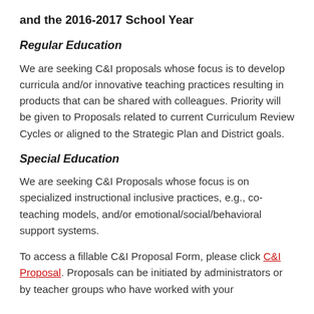and the 2016-2017 School Year
Regular Education
We are seeking C&I proposals whose focus is to develop curricula and/or innovative teaching practices resulting in products that can be shared with colleagues. Priority will be given to Proposals related to current Curriculum Review Cycles or aligned to the Strategic Plan and District goals.
Special Education
We are seeking C&I Proposals whose focus is on specialized instructional inclusive practices, e.g., co-teaching models, and/or emotional/social/behavioral support systems.
To access a fillable C&I Proposal Form, please click C&I Proposal. Proposals can be initiated by administrators or by teacher groups who have worked with your